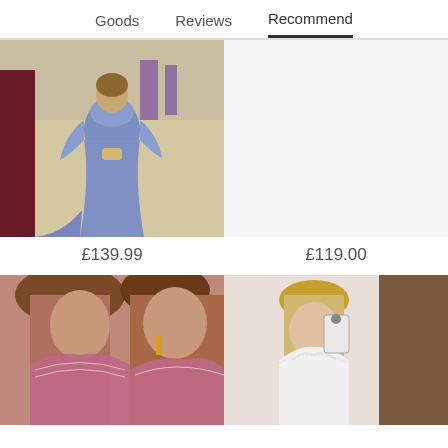Goods   Reviews   Recommend
[Figure (photo): Woman wearing a periwinkle/lavender mermaid gown with lace long sleeves at a banquet hall]
£139.99
[Figure (photo): Right product image placeholder (white/blank area)]
£119.00
[Figure (photo): Woman in a pink/dusty rose off-shoulder V-neck beaded gown, closeup of upper body]
[Figure (photo): Blonde woman in white off-shoulder lace dress taking a mirror selfie]